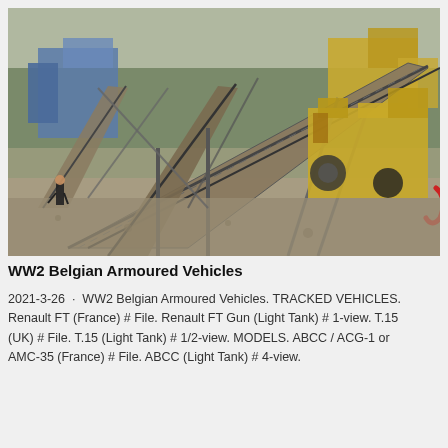[Figure (photo): Industrial quarry or mining site with large conveyor belt systems, yellow heavy machinery, blue equipment in background, dusty gravel ground, and a person visible on the left side.]
WW2 Belgian Armoured Vehicles
2021-3-26 · WW2 Belgian Armoured Vehicles. TRACKED VEHICLES. Renault FT (France) # File. Renault FT Gun (Light Tank) # 1-view. T.15 (UK) # File. T.15 (Light Tank) # 1/2-view. MODELS. ABCC / ACG-1 or AMC-35 (France) # File. ABCC (Light Tank) # 4-view.